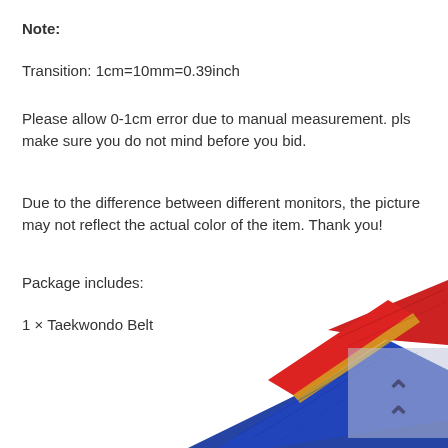Note:
Transition: 1cm=10mm=0.39inch
Please allow 0-1cm error due to manual measurement. pls make sure you do not mind before you bid.
Due to the difference between different monitors, the picture may not reflect the actual color of the item. Thank you!
Package includes:
1 × Taekwondo Belt
[Figure (photo): Photo of a folded Taekwondo belt in red and blue colors with a gold stripe, shown diagonally on a white background, with a partially transparent watermark overlay in the bottom right corner.]